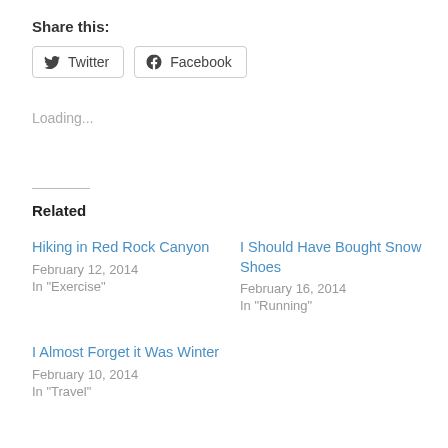Share this:
Twitter  Facebook
Loading...
Related
Hiking in Red Rock Canyon
February 12, 2014
In "Exercise"
I Should Have Bought Snow Shoes
February 16, 2014
In "Running"
I Almost Forget it Was Winter
February 10, 2014
In "Travel"